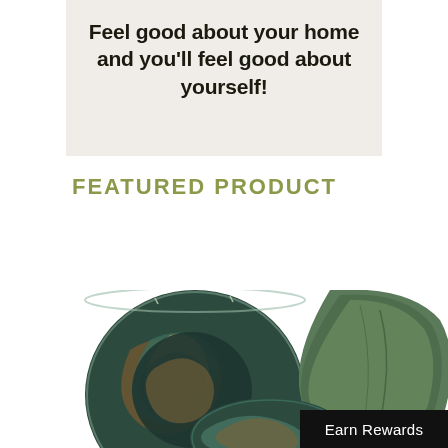Feel good about your home and you'll feel good about yourself!
FEATURED PRODUCT
[Figure (photo): Three decorative glass bowls with swirling patterns in teal, brown, and green colors, viewed from above]
Earn Rewards